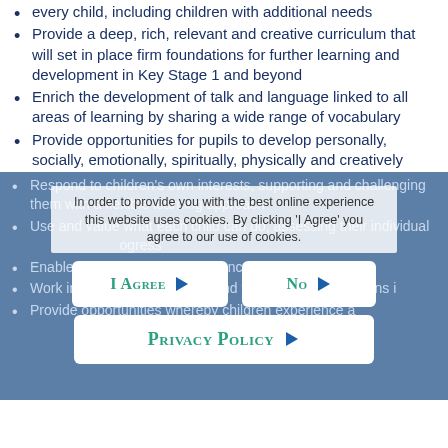every child, including children with additional needs
Provide a deep, rich, relevant and creative curriculum that will set in place firm foundations for further learning and development in Key Stage 1 and beyond
Enrich the development of talk and language linked to all areas of learning by sharing a wide range of vocabulary
Provide opportunities for pupils to develop personally, socially, emotionally, spiritually, physically and creatively
Respond to children's own interests, supporting and challenging them with a flexible learning approach
Use and value what each child can do, assessing their individual … progress
Enable ch… independence and self-confidence
Work in partne… and value their contributions i…
Provide opportunities whereby children experience a
[Figure (screenshot): Cookie consent overlay with 'I Agree', 'No', and 'Privacy Policy' buttons and explanatory text]